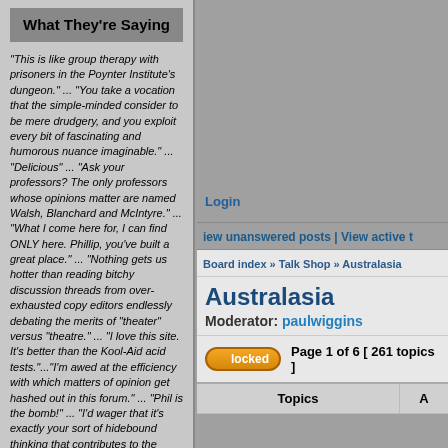What They're Saying
"This is like group therapy with prisoners in the Poynter Institute's dungeon." ... "You take a vocation that the simple-minded consider to be mere drudgery, and you exploit every bit of fascinating and humorous nuance imaginable." ... "Delicious" ... "Ask your professors? The only professors whose opinions matter are named Walsh, Blanchard and McIntyre." ... "What I come here for, I can find ONLY here. Phillip, you've built a great place." ... "Nothing gets us hotter than reading bitchy discussion threads from over-exhausted copy editors endlessly debating the merits of "theater" versus "theatre." ... "I love this site. It's better than the Kool-Aid acid tests."..."I'm awed at the efficiency with which matters of opinion get hashed out in this forum." ... "Phil is the bomb!" ... "I'd wager that it's exactly your sort of hidebound thinking that contributes to the problems newspapers are having attracting readers." ... "I'm totally obsessed with this site. It's like
Login
iew unanswered posts | View active t
Board index » Talk Shop » Australasia
Australasia
Moderator: paulwiggins
locked   Page 1 of 6  [ 261 topics ]
| Topics |  |
| --- | --- |